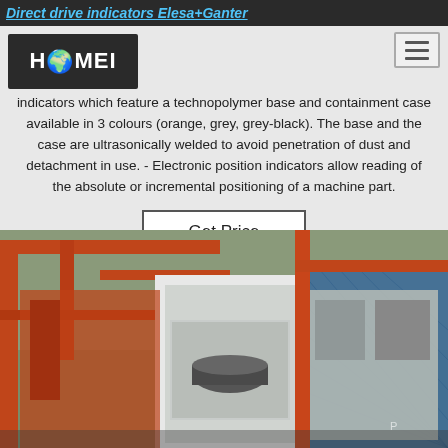Direct drive indicators Elesa+Ganter
indicators which feature a technopolymer base and containment case available in 3 colours (orange, grey, grey-black). The base and the case are ultrasonically welded to avoid penetration of dust and detachment in use. - Electronic position indicators allow reading of the absolute or incremental positioning of a machine part.
Get Price
[Figure (photo): Industrial machine equipment in an outdoor factory setting, showing a large white-framed machine structure with blue mesh guard panels and orange steel framework, with cylindrical tanks and mechanical components visible.]